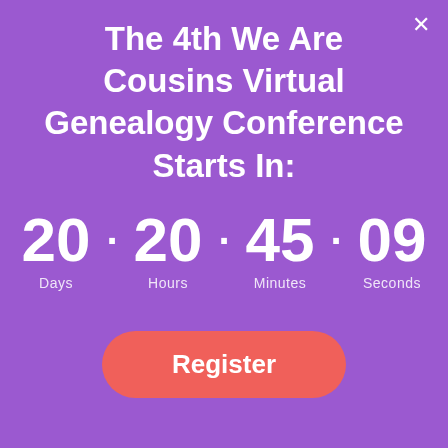The 4th We Are Cousins Virtual Genealogy Conference Starts In:
20 · 20 · 45 · 09
Days   Hours   Minutes   Seconds
Register
Aida Mueller
July 10, 2013 at 4:37 pm